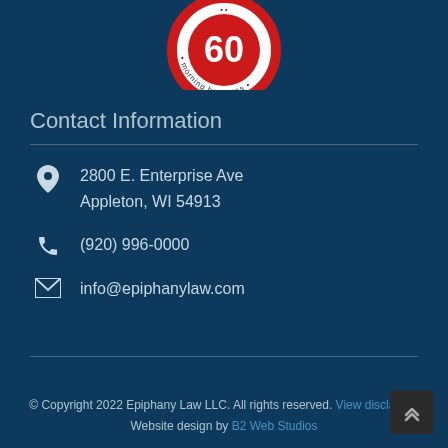[Figure (logo): Circular logo with '60' and text 'morning business' around the edge, red and white, partially visible at top]
Contact Information
2800 E. Enterprise Ave
Appleton, WI 54913
(920) 996-0000
info@epiphanylaw.com
© Copyright 2022 Epiphany Law LLC. All rights reserved. View disclaimer
Website design by B2 Web Studios